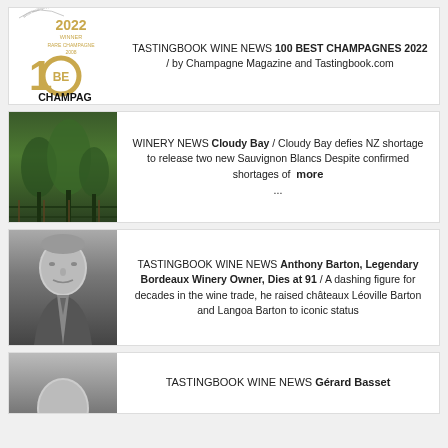[Figure (logo): 100 Best Champagnes 2022 award badge with golden logo]
TASTINGBOOK WINE NEWS 100 BEST CHAMPAGNES 2022 / by Champagne Magazine and Tastingbook.com
[Figure (photo): Vineyard with green vines and trees]
WINERY NEWS Cloudy Bay / Cloudy Bay defies NZ shortage to release two new Sauvignon Blancs Despite confirmed shortages of more ...
[Figure (photo): Black and white portrait of Anthony Barton, elderly man in suit]
TASTINGBOOK WINE NEWS Anthony Barton, Legendary Bordeaux Winery Owner, Dies at 91 / A dashing figure for decades in the wine trade, he raised châteaux Léoville Barton and Langoa Barton to iconic status
[Figure (photo): Black and white portrait photo, partial view]
TASTINGBOOK WINE NEWS Gérard Basset